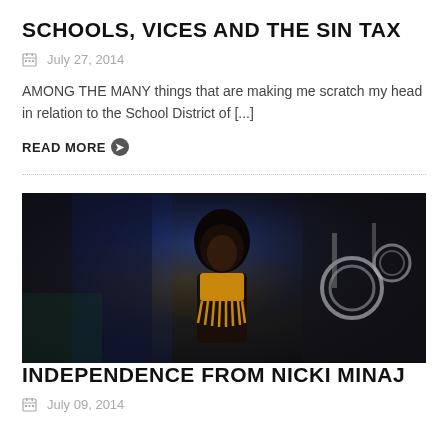SCHOOLS, VICES AND THE SIN TAX
July 27, 2014
AMONG THE MANY things that are making me scratch my head in relation to the School District of [...]
READ MORE
[Figure (photo): A female performer on stage wearing a yellow fringed top, with drum kit and dark background behind her]
INDEPENDENCE FROM NICKI MINAJ
July 09, 2014